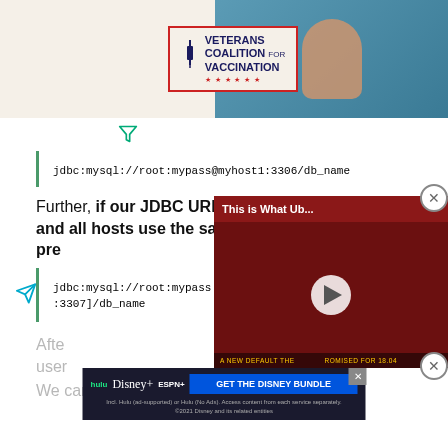[Figure (photo): Veterans Coalition for Vaccination advertisement banner with logo and arm being vaccinated]
[Figure (other): Small feather/filter icon]
Further, if our JDBC URL contains multiple hosts and all hosts use the same credentials, we can pre...
[Figure (screenshot): Video overlay: This is What Ub... - A NEW DEFAULT THE... ROMISED FOR 18.04]
[Figure (other): Disney Bundle advertisement: hulu Disney+ ESPN+ GET THE DISNEY BUNDLE]
After... user...
We can pass the username and password to